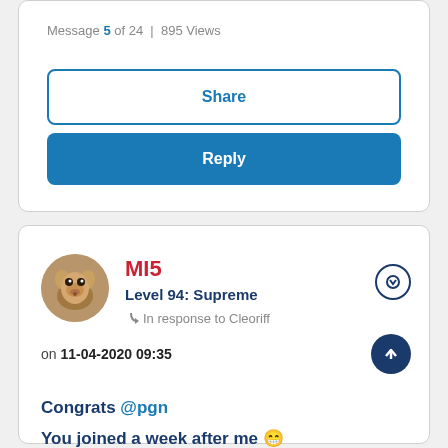Message 5 of 24 | 895 Views
Share
Reply
MI5
Level 94: Supreme
In response to Cleoriff
on 11-04-2020 09:35
Congrats @pgn
You joined a week after me 😁